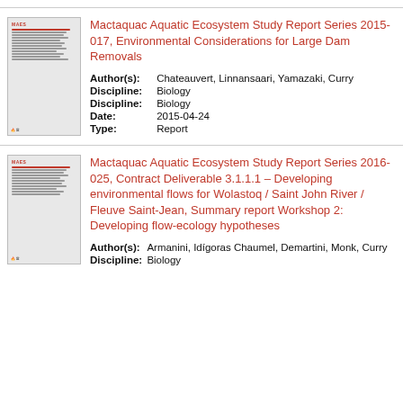[Figure (other): Thumbnail image of MAES report cover for Series 2015-017]
Mactaquac Aquatic Ecosystem Study Report Series 2015-017, Environmental Considerations for Large Dam Removals
Author(s): Chateauvert, Linnansaari, Yamazaki, Curry
Discipline: Biology
Discipline: Biology
Date: 2015-04-24
Type: Report
[Figure (other): Thumbnail image of MAES report cover for Series 2016-025]
Mactaquac Aquatic Ecosystem Study Report Series 2016-025, Contract Deliverable 3.1.1.1 – Developing environmental flows for Wolastoq / Saint John River / Fleuve Saint-Jean, Summary report Workshop 2: Developing flow-ecology hypotheses
Author(s): Armanini, Idígoras Chaumel, Demartini, Monk, Curry
Discipline: Biology